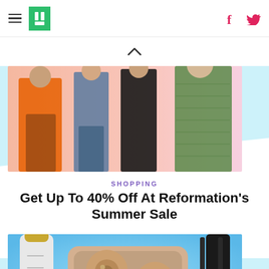HuffPost navigation with hamburger menu, logo, Facebook and Twitter icons
[Figure (photo): Fashion photo showing women in various outfits: orange dress, jeans, black pants, green dress on pink background]
SHOPPING
Get Up To 40% Off At Reformation's Summer Sale
[Figure (photo): Product photo showing a white water bottle with gold cap, gold wireless earbuds in charging case, and black hair dryer brush on blue gradient background]